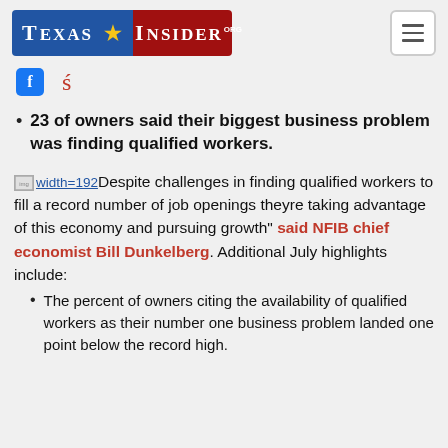[Figure (logo): Texas Insider .org logo with blue and red background and star, plus hamburger menu button]
[Figure (other): Social media icons: Facebook icon and share/bookmark icon in red]
23 of owners said their biggest business problem was finding qualified workers.
Despite challenges in finding qualified workers to fill a record number of job openings theyre taking advantage of this economy and pursuing growth" said NFIB chief economist Bill Dunkelberg. Additional July highlights include:
The percent of owners citing the availability of qualified workers as their number one business problem landed one point below the record high.